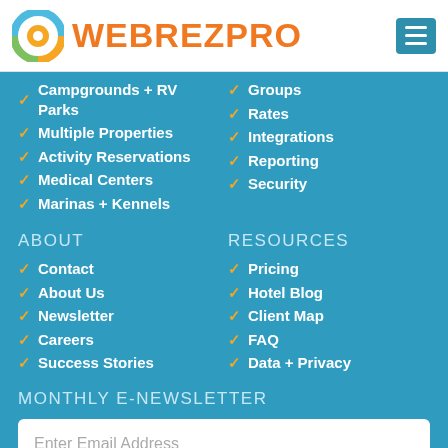WEBREZPRO
Campgrounds + RV Parks
Groups
Multiple Properties
Rates
Activity Reservations
Integrations
Medical Centers
Reporting
Marinas + Kennels
Security
ABOUT
RESOURCES
Contact
Pricing
About Us
Hotel Blog
Newsletter
Client Map
Careers
FAQ
Success Stories
Data + Privacy
MONTHLY E-NEWSLETTER
Enter Email Address